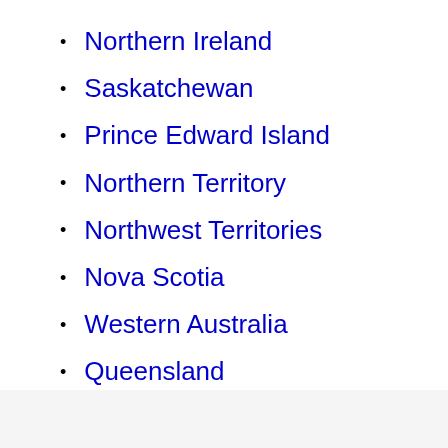Northern Ireland
Saskatchewan
Prince Edward Island
Northern Territory
Northwest Territories
Nova Scotia
Western Australia
Queensland
South Australia